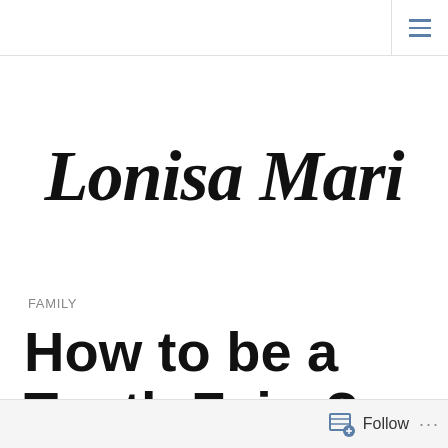≡ (hamburger menu)
Lonisa Mari
FAMILY
How to be a Tooth Fairy?
Follow ···